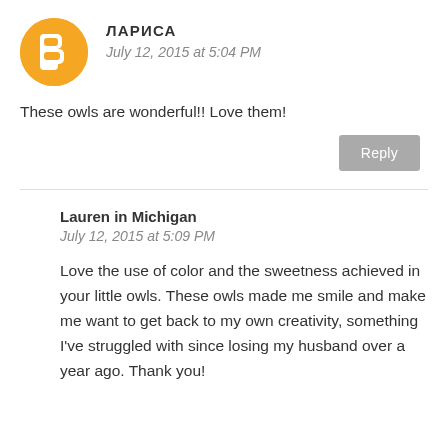[Figure (logo): Orange circular Blogger profile avatar icon with white 'B' letter]
ЛАРИСА
July 12, 2015 at 5:04 PM
These owls are wonderful!! Love them!
Reply
Lauren in Michigan
July 12, 2015 at 5:09 PM
Love the use of color and the sweetness achieved in your little owls. These owls made me smile and make me want to get back to my own creativity, something I've struggled with since losing my husband over a year ago. Thank you!